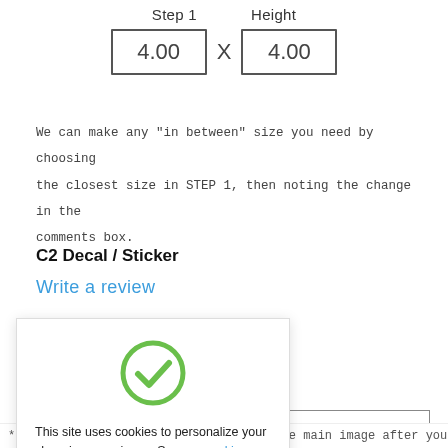Step 1   Height
4.00 X 4.00
We can make any "in between" size you need by choosing the closest size in STEP 1, then noting the change in the comments box.
C2 Decal / Sticker
Write a review
[Figure (other): Green circle with checkmark icon for cookie consent dialog]
This site uses cookies to personalize your shopping experience. See our cookie policy for further information on how this information is used.
Got It!
ecals (+$5.00 )
* Proportional height is shown below the main image after you